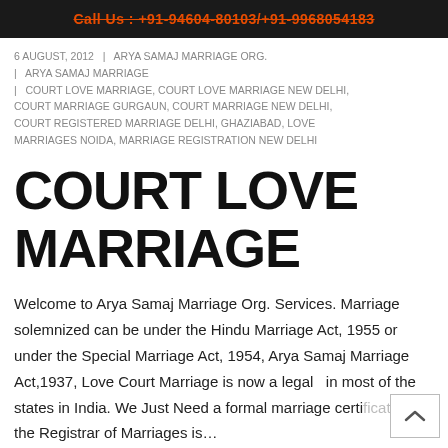Call Us : +91-94604-80103/+91-9968054183
6 AUGUST, 2012  |  ARYA SAMAJ MARRIAGE ORG.  |  ARYA SAMAJ MARRIAGE  |  COURT LOVE MARRIAGE, COURT LOVE MARRIAGE NEW DELHI, COURT MARRIAGE GURGAUN, COURT MARRIAGE NEW DELHI, COURT REGISTERED MARRIAGE DELHI, GHAZIABAD, LOVE MARRIAGES NOIDA, MARRIAGE REGISTRATION NEW DELHI
COURT LOVE MARRIAGE
Welcome to Arya Samaj Marriage Org. Services. Marriage solemnized can be under the Hindu Marriage Act, 1955 or under the Special Marriage Act, 1954, Arya Samaj Marriage Act,1937, Love Court Marriage is now a legal  in most of the states in India. We Just Need a formal marriage certificate from the Registrar of Marriages is…